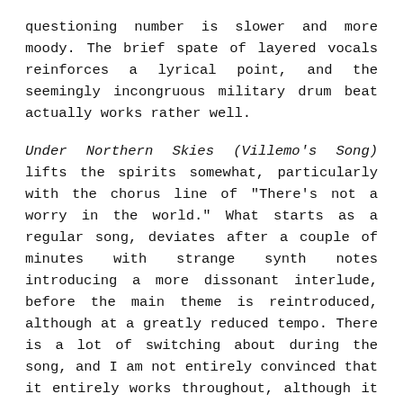questioning number is slower and more moody. The brief spate of layered vocals reinforces a lyrical point, and the seemingly incongruous military drum beat actually works rather well.
Under Northern Skies (Villemo's Song) lifts the spirits somewhat, particularly with the chorus line of "There's not a worry in the world." What starts as a regular song, deviates after a couple of minutes with strange synth notes introducing a more dissonant interlude, before the main theme is reintroduced, although at a greatly reduced tempo. There is a lot of switching about during the song, and I am not entirely convinced that it entirely works throughout, although it is good to hear a different approach being explored.
The brief instrumental, Building A Tent For Astor, utilises a variety of keyboard sounds, from a pseudo accordion, a modern harpsichord and a straight-